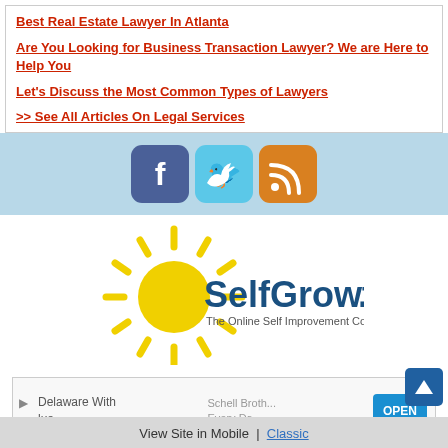Best Real Estate Lawyer In Atlanta
Are You Looking for Business Transaction Lawyer? We are Here to Help You
Let's Discuss the Most Common Types of Lawyers
>> See All Articles On Legal Services
[Figure (infographic): Social media icons: Facebook (blue), Twitter (light blue), RSS (orange), on a light blue background bar]
[Figure (logo): SelfGrowth.com logo with yellow sunburst graphic and text 'The Online Self Improvement Community']
[Figure (screenshot): Advertisement banner: 'Delaware With lue' on left, 'Schell Broth... Every Da...' in center, blue OPEN button on right]
View Site in Mobile  |  Classic